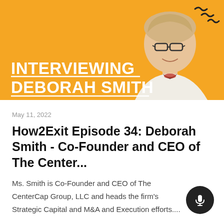[Figure (illustration): Orange/yellow banner with a woman (Deborah Smith) portrait photo on the right side, decorative squiggle lines in top-right corner, and bold white text reading INTERVIEWING DEBORAH SMITH with underlines.]
May 11, 2022
How2Exit Episode 34: Deborah Smith - Co-Founder and CEO of The Center...
Ms. Smith is Co-Founder and CEO of The CenterCap Group, LLC and heads the firm's Strategic Capital and M&A and Execution efforts....